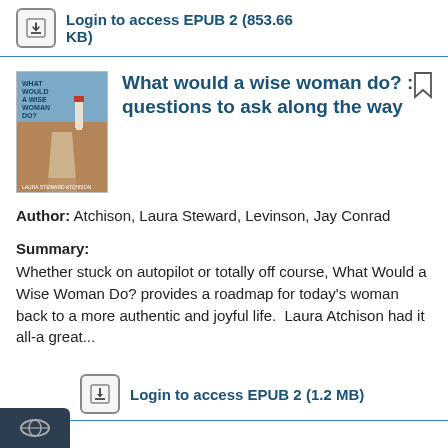Login to access EPUB 2 (853.66 KB)
What would a wise woman do? : questions to ask along the way
Author: Atchison, Laura Steward, Levinson, Jay Conrad
Summary:
Whether stuck on autopilot or totally off course, What Would a Wise Woman Do? provides a roadmap for today's woman back to a more authentic and joyful life.  Laura Atchison had it all-a great...
Login to access EPUB 2 (1.2 MB)